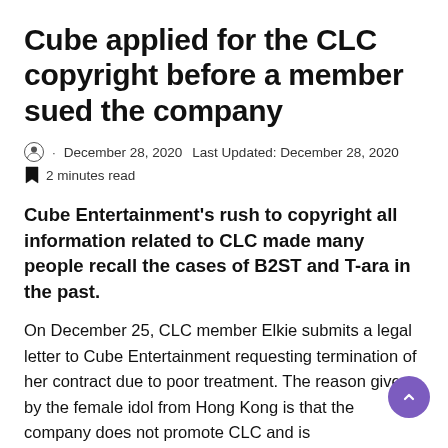Cube applied for the CLC copyright before a member sued the company
· December 28, 2020   Last Updated: December 28, 2020
2 minutes read
Cube Entertainment's rush to copyright all information related to CLC made many people recall the cases of B2ST and T-ara in the past.
On December 25, CLC member Elkie submits a legal letter to Cube Entertainment requesting termination of her contract due to poor treatment. The reason given by the female idol from Hong Kong is that the company does not promote CLC and is